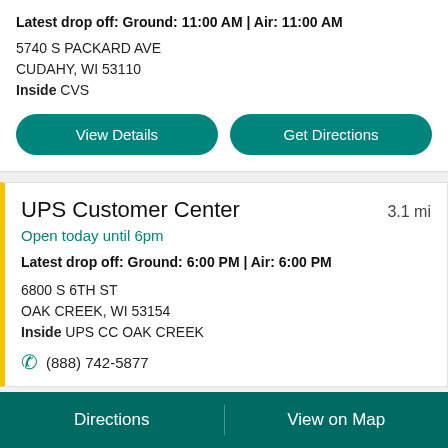Latest drop off: Ground: 11:00 AM | Air: 11:00 AM
5740 S PACKARD AVE
CUDAHY, WI 53110
Inside CVS
View Details
Get Directions
UPS Customer Center   3.1 mi
Open today until 6pm
Latest drop off: Ground: 6:00 PM | Air: 6:00 PM
6800 S 6TH ST
OAK CREEK, WI 53154
Inside UPS CC OAK CREEK
(888) 742-5877
Directions
View on Map